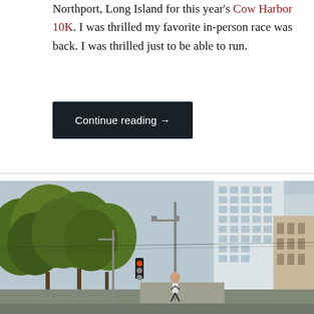Northport, Long Island for this year's Cow Harbor 10K. I was thrilled my favorite in-person race was back. I was thrilled just to be able to run.
Continue reading →
[Figure (photo): Street scene photo showing a runner on a city street with large green trees on the left and tall white residential buildings on the right, with a traffic light and street lamps visible.]